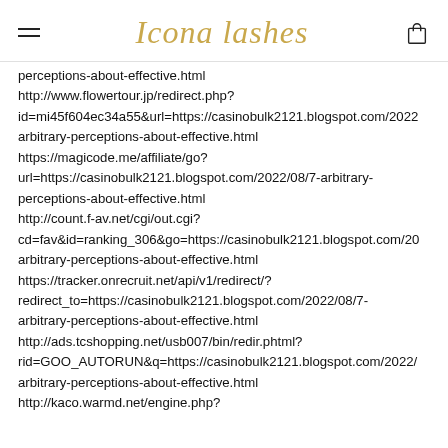Icona lashes
perceptions-about-effective.html http://www.flowertour.jp/redirect.php?id=mi45f604ec34a55&url=https://casinobulk2121.blogspot.com/2022/ arbitrary-perceptions-about-effective.html https://magicode.me/affiliate/go?url=https://casinobulk2121.blogspot.com/2022/08/7-arbitrary-perceptions-about-effective.html http://count.f-av.net/cgi/out.cgi?cd=fav&id=ranking_306&go=https://casinobulk2121.blogspot.com/20 arbitrary-perceptions-about-effective.html https://tracker.onrecruit.net/api/v1/redirect/?redirect_to=https://casinobulk2121.blogspot.com/2022/08/7-arbitrary-perceptions-about-effective.html http://ads.tcshopping.net/usb007/bin/redir.phtml?rid=GOO_AUTORUN&q=https://casinobulk2121.blogspot.com/2022/ arbitrary-perceptions-about-effective.html http://kaco.warmd.net/engine.php?